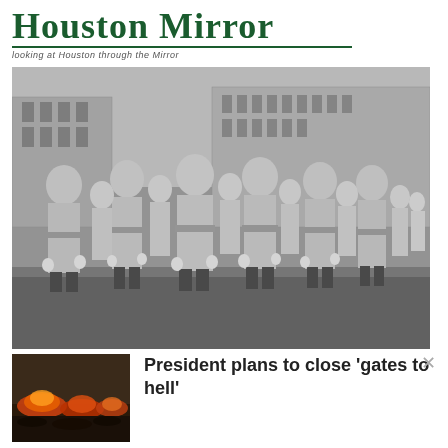Houston Mirror — Looking at Houston through the Mirror
[Figure (photo): Black and white photograph of a large group of men in uniform light-colored jumpsuits and white head coverings standing in formation on a wet street, with a large building visible in the background.]
[Figure (photo): Small thumbnail image of a fire burning on dark ground.]
President plans to close 'gates to hell'